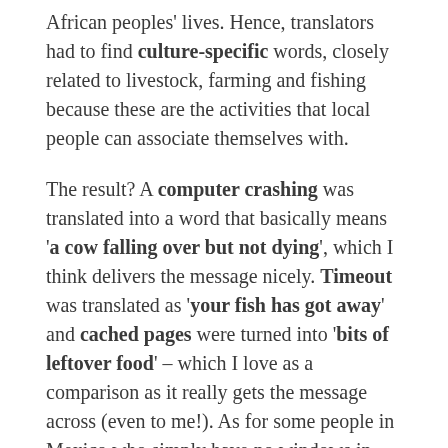African peoples' lives. Hence, translators had to find culture-specific words, closely related to livestock, farming and fishing because these are the activities that local people can associate themselves with.
The result? A computer crashing was translated into a word that basically means 'a cow falling over but not dying', which I think delivers the message nicely. Timeout was translated as 'your fish has got away' and cached pages were turned into 'bits of leftover food' – which I love as a comparison as it really gets the message across (even to me!). As for some people in Mexico who simply have no windows in their homes, Windows became 'eyes'.